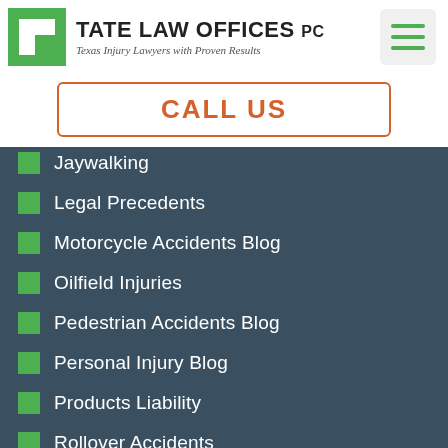[Figure (logo): Tate Law Offices PC logo with green square icon and firm name]
CALL US
Jaywalking
Legal Precedents
Motorcycle Accidents Blog
Oilfield Injuries
Pedestrian Accidents Blog
Personal Injury Blog
Products Liability
Rollover Accidents
Texas Law